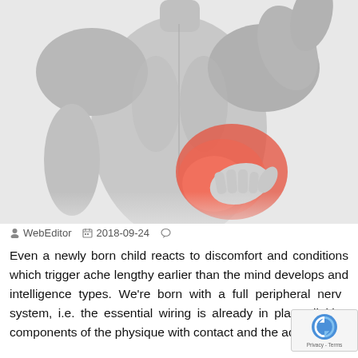[Figure (photo): Black and white photo of a shirtless man seen from behind, reaching back to hold his lower back/hip area, which is highlighted in red/pink to indicate pain.]
WebEditor  2018-09-24  ○
Even a newly born child reacts to discomfort and conditions which trigger ache lengthy earlier than the mind develops and intelligence types. We're born with a full peripheral nerve system, i.e. the essential wiring is already in place, linking components of the physique with contact and the ache